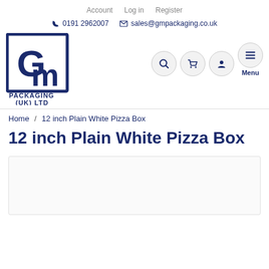Account   Log in   Register
0191 2962007   sales@gmpackaging.co.uk
[Figure (logo): GM Packaging (UK) Ltd logo — dark blue square border with stylized GM letters inside, text PACKAGING (UK) LTD below]
Home / 12 inch Plain White Pizza Box
12 inch Plain White Pizza Box